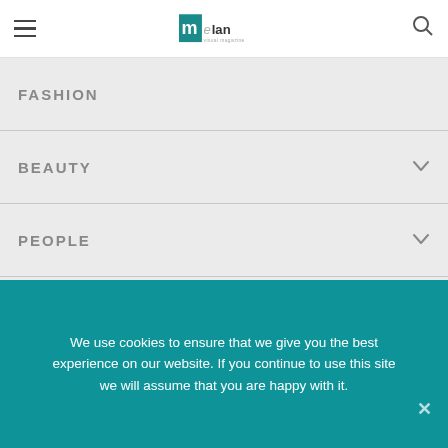melan [logo] with hamburger menu and search icon
FASHION
BEAUTY
PEOPLE
LIVING
TRAVEL
We use cookies to ensure that we give you the best experience on our website. If you continue to use this site we will assume that you are happy with it.